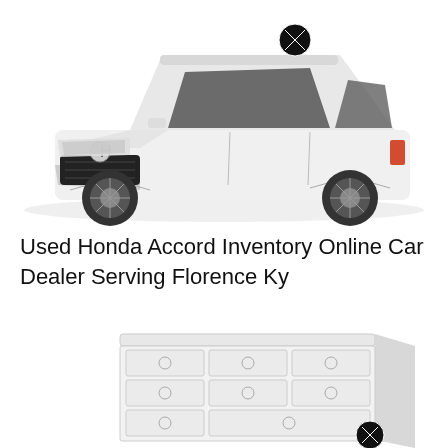[Figure (photo): White Honda Accord sedan shown from a front three-quarter angle on a white background. A circular X (close/delete) icon is visible on the upper windshield area of the car.]
Used Honda Accord Inventory Online Car Dealer Serving Florence Ky
[Figure (photo): White chest of drawers / dresser with multiple drawers, each with small round handles. A circular X (close/delete) icon is visible at the bottom right of the image. The image is partially cut off at the bottom.]